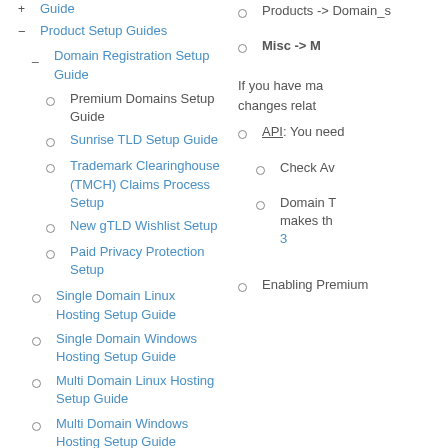+ Guide
− Product Setup Guides
_ Domain Registration Setup Guide
○ Premium Domains Setup Guide
○ Sunrise TLD Setup Guide
○ Trademark Clearinghouse (TMCH) Claims Process Setup
○ New gTLD Wishlist Setup
○ Paid Privacy Protection Setup
○ Single Domain Linux Hosting Setup Guide
○ Single Domain Windows Hosting Setup Guide
○ Multi Domain Linux Hosting Setup Guide
○ Multi Domain Windows Hosting Setup Guide
○ Products -> Domain_s
○ Misc -> M
If you have ma changes relat
○ API: You need
○ Check Av
○ Domain T makes th 3
○ Enabling Premium